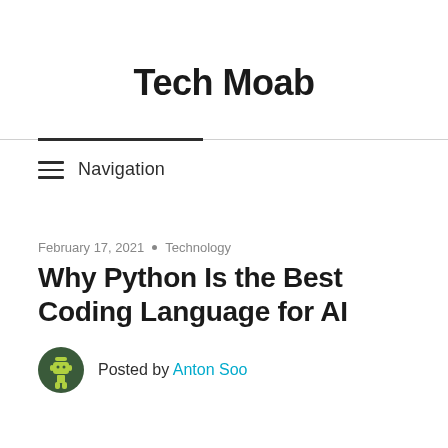Tech Moab
Navigation
February 17, 2021 • Technology
Why Python Is the Best Coding Language for AI
Posted by Anton Soo